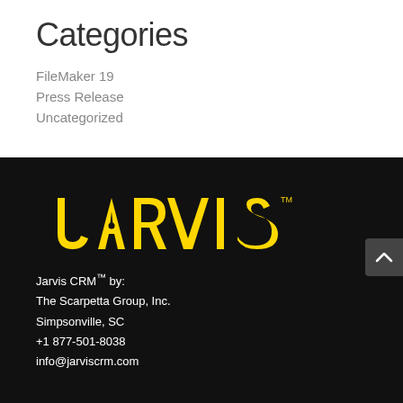Categories
FileMaker 19
Press Release
Uncategorized
[Figure (logo): JARVIS CRM logo in yellow on black background]
Jarvis CRM™ by:
The Scarpetta Group, Inc.
Simpsonville, SC
+1 877-501-8038
info@jarviscrm.com